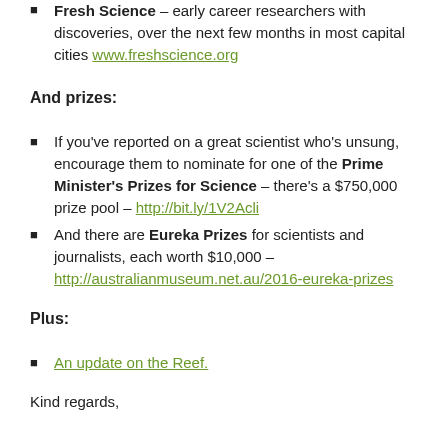Fresh Science – early career researchers with discoveries, over the next few months in most capital cities www.freshscience.org
And prizes:
If you've reported on a great scientist who's unsung, encourage them to nominate for one of the Prime Minister's Prizes for Science – there's a $750,000 prize pool – http://bit.ly/1V2Acli
And there are Eureka Prizes for scientists and journalists, each worth $10,000 – http://australianmuseum.net.au/2016-eureka-prizes
Plus:
An update on the Reef.
Kind regards,